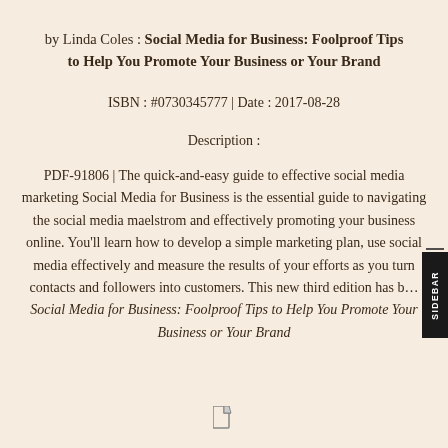by Linda Coles : Social Media for Business: Foolproof Tips to Help You Promote Your Business or Your Brand
ISBN : #0730345777 | Date : 2017-08-28
Description :
PDF-91806 | The quick-and-easy guide to effective social media marketing Social Media for Business is the essential guide to navigating the social media maelstrom and effectively promoting your business online. You'll learn how to develop a simple marketing plan, use social media effectively and measure the results of your efforts as you turn contacts and followers into customers. This new third edition has b... Social Media for Business: Foolproof Tips to Help You Promote Your Business or Your Brand